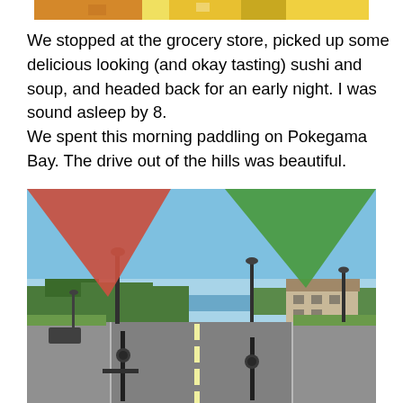[Figure (photo): Top portion of a photo showing people wearing yellow clothing, partially cropped at the top of the page.]
We stopped at the grocery store, picked up some delicious looking (and okay tasting) sushi and soup, and headed back for an early night. I was sound asleep by 8.
We spent this morning paddling on Pokegama Bay. The drive out of the hills was beautiful.
[Figure (photo): A photo taken from a bicycle or vehicle on a wide road (likely a boulevard), with colorful flags or banners in the foreground (red/orange on left, green on right), street lamps, trees, a large building on the right, and a body of water visible in the background under a clear blue sky.]